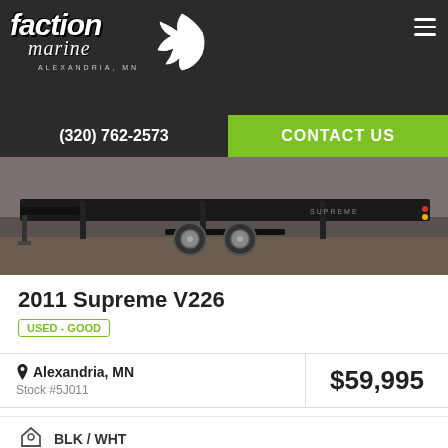Faction Marine Alexandria, MN
(320) 762-2573
CONTACT US
[Figure (photo): Black boat trailer on gravel, side view showing tandem axles and long flat bed]
2011 Supreme V226
USED - GOOD
Alexandria, MN
Stock #5J011
$59,995
BLK / WHT
Wakesurf Boats, Wakeboard Boats, Ski Boats